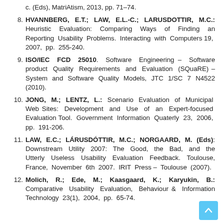(partial) c. (Eds), MatriAtism, 2013, pp. 71-74.
8. HVANNBERG, E.T.; LAW, E.L.-C.; LARUSDOTTIR, M.C.: Heuristic Evaluation: Comparing Ways of Finding an Reporting Usability Problems. Interacting with Computers 19, 2007, pp. 255-240.
9. ISO/IEC FCD 25010. Software Engineering – Software product Quality Requirements and Evaluation (SQuaRE) – System and Software Quality Models, JTC 1/SC 7 N4522 (2010).
10. JONG, M.; LENTZ, L.: Scenario Evaluation of Municipal Web Sites: Development and Use of an Expert-focused Evaluation Tool. Government Information Quaterly 23, 2006, pp. 191-206.
11. LAW, E.C.; LÁRUSDÓTTIR, M.C.; NORGAARD, M. (Eds): Downstream Utility 2007: The Good, the Bad, and the Utterly Useless Usability Evaluation Feedback. Toulouse, France, November 6th 2007. IRIT Press – Toulouse (2007).
12. Molich, R.; Ede, M.; Kaasgaard, K.; Karyukin, B.: Comparative Usability Evaluation, Behaviour & Information Technology 23(1), 2004, pp. 65-74.